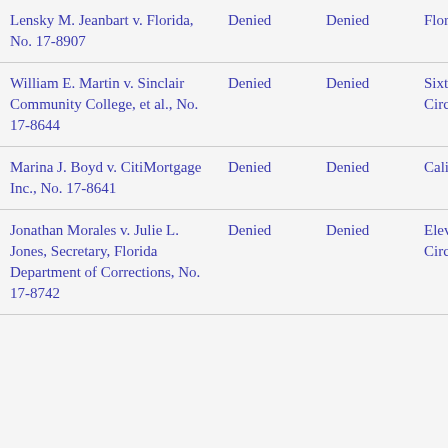| Case | Cert | Review | Circuit |
| --- | --- | --- | --- |
| Lensky M. Jeanbart v. Florida, No. 17-8907 | Denied | Denied | Flor... |
| William E. Martin v. Sinclair Community College, et al., No. 17-8644 | Denied | Denied | Sixt... Circ... |
| Marina J. Boyd v. CitiMortgage Inc., No. 17-8641 | Denied | Denied | Cali... |
| Jonathan Morales v. Julie L. Jones, Secretary, Florida Department of Corrections, No. 17-8742 | Denied | Denied | Elev... Circ... |